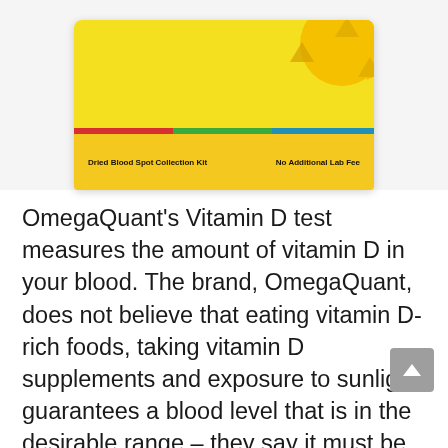[Figure (photo): OmegaQuant Vitamin D test product box showing a yellow box with sun design, a colored stripe (red, green, blue), and a yellow banner reading 'Dried Blood Spot Collection Kit' and 'No Additional Lab Fee']
OmegaQuant's Vitamin D test measures the amount of vitamin D in your blood. The brand, OmegaQuant, does not believe that eating vitamin D-rich foods, taking vitamin D supplements and exposure to sunlight guarantees a blood level that is in the desirable range – they say it must be measured. This test does just that. What's great about this test, though, is that when you get your results back, you'll now have access to information on personal intake of vitamin D that your body needs to remain in optimal range.